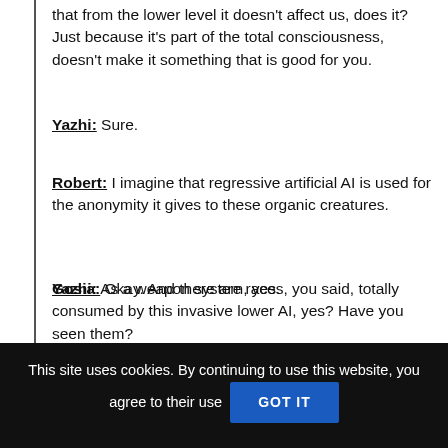that from the lower level it doesn't affect us, does it? Just because it's part of the total consciousness, doesn't make it something that is good for you.
Yazhi: Sure.
Robert: I imagine that regressive artificial AI is used for the anonymity it gives to these organic creatures.
Yazhi: As a weapon system, yes.
Gosia: Okay. And there are races, you said, totally consumed by this invasive lower AI, yes? Have you seen them?
Yazhi: As Dhor Káal'él explained, there are degrees of assimilation where some are in Cyborg phase, half biological half AI, and others as a race just disappear, they are destroyed
This site uses cookies. By continuing to use this website, you agree to their use GOT IT